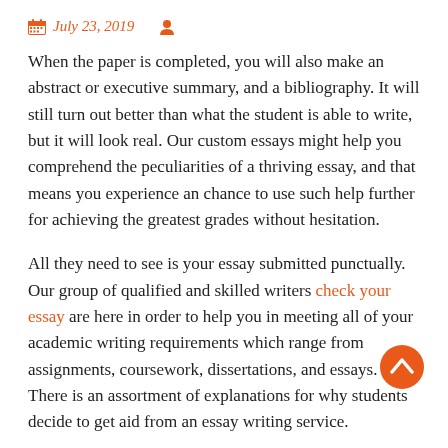July 23, 2019
When the paper is completed, you will also make an abstract or executive summary, and a bibliography. It will still turn out better than what the student is able to write, but it will look real. Our custom essays might help you comprehend the peculiarities of a thriving essay, and that means you experience an chance to use such help further for achieving the greatest grades without hesitation.
All they need to see is your essay submitted punctually. Our group of qualified and skilled writers check your essay are here in order to help you in meeting all of your academic writing requirements which range from assignments, coursework, dissertations, and essays. There is an assortment of explanations for why students decide to get aid from an essay writing service.
When it has to do with students, the matter of plagiarism is a